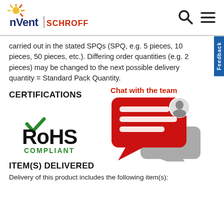[Figure (logo): nVent SCHROFF logo with stylized sun/spark graphic and search/menu icons in header]
carried out in the stated SPQs (SPQ, e.g. 5 pieces, 10 pieces, 50 pieces, etc.). Differing order quantities (e.g. 2 pieces) may be changed to the next possible delivery quantity = Standard Pack Quantity.
CERTIFICATIONS
[Figure (logo): RoHS Compliant certification logo with green checkmark]
[Figure (illustration): Chat with the team widget — red speech bubble with text lines and a person avatar, plus a grey speech bubble behind]
ITEM(S) DELIVERED
Delivery of this product includes the following item(s):